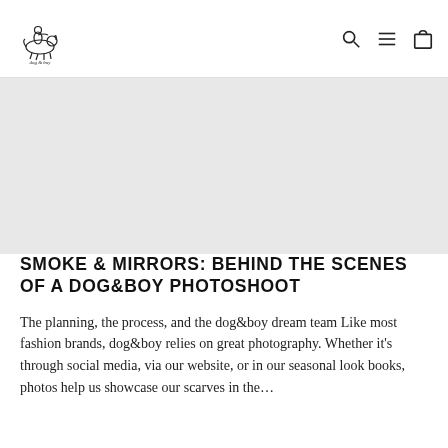dog & boy — navigation with search, menu, and cart icons
[Figure (photo): Light grey hero image placeholder area for a dog&boy photoshoot]
SMOKE & MIRRORS: BEHIND THE SCENES OF A DOG&BOY PHOTOSHOOT
The planning, the process, and the dog&boy dream team Like most fashion brands, dog&boy relies on great photography. Whether it's through social media, via our website, or in our seasonal look books, photos help us showcase our scarves in the...